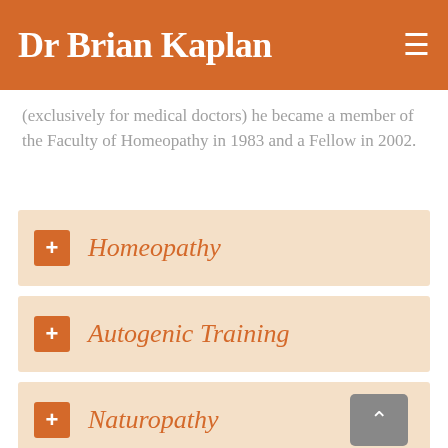Dr Brian Kaplan
(exclusively for medical doctors) he became a member of the Faculty of Homeopathy in 1983 and a Fellow in 2002.
+ Homeopathy
+ Autogenic Training
+ Naturopathy
+ Conventional Medicine